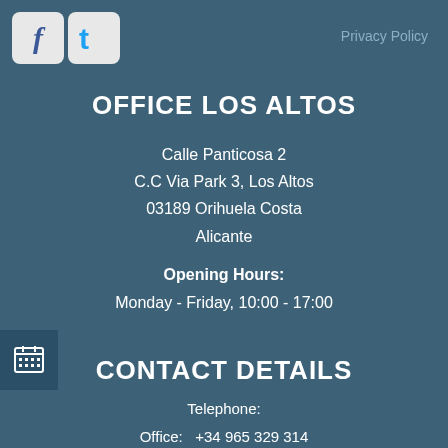[Figure (logo): Facebook and Twitter social media icons]
Privacy Policy
OFFICE LOS ALTOS
Calle Panticosa 2
C.C Via Park 3, Los Altos
03189 Orihuela Costa
Alicante
Opening Hours:
Monday - Friday, 10:00 - 17:00
CONTACT DETAILS
Telephone:
Office:   +34 965 329 314
Karron:  +34 619 638 938